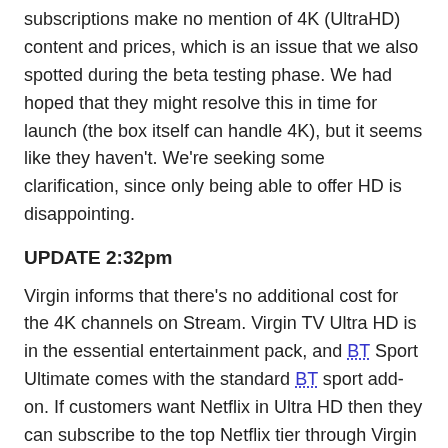subscriptions make no mention of 4K (UltraHD) content and prices, which is an issue that we also spotted during the beta testing phase. We had hoped that they might resolve this in time for launch (the box itself can handle 4K), but it seems like they haven't. We're seeking some clarification, since only being able to offer HD is disappointing.
UPDATE 2:32pm
Virgin informs that there's no additional cost for the 4K channels on Stream. Virgin TV Ultra HD is in the essential entertainment pack, and BT Sport Ultimate comes with the standard BT sport add-on. If customers want Netflix in Ultra HD then they can subscribe to the top Netflix tier through Virgin Media also.